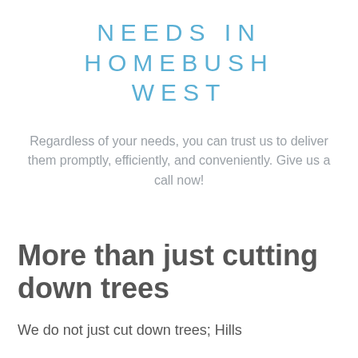NEEDS IN HOMEBUSH WEST
Regardless of your needs, you can trust us to deliver them promptly, efficiently, and conveniently. Give us a call now!
More than just cutting down trees
We do not just cut down trees; Hills